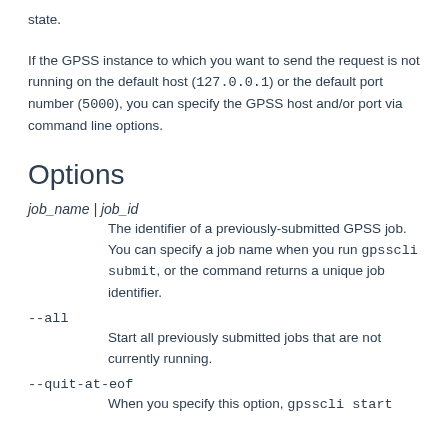state.
If the GPSS instance to which you want to send the request is not running on the default host (127.0.0.1) or the default port number (5000), you can specify the GPSS host and/or port via command line options.
Options
job_name | job_id
The identifier of a previously-submitted GPSS job. You can specify a job name when you run gpsscli submit, or the command returns a unique job identifier.
--all
Start all previously submitted jobs that are not currently running.
--quit-at-eof
When you specify this option, gpsscli start